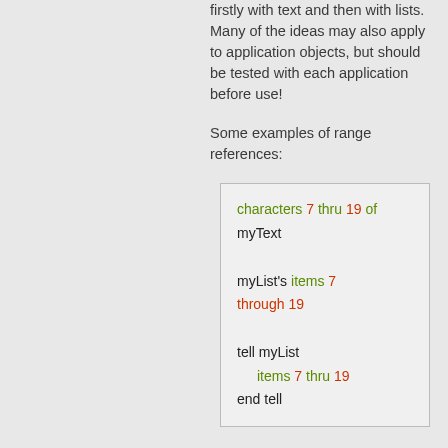firstly with text and then with lists. Many of the ideas may also apply to application objects, but should be tested with each application before use!
Some examples of range references:
[Figure (screenshot): Code box showing range reference examples: 'characters 7 thru 19 of myText', 'myList's items 7 through 19', and 'tell myList / items 7 thru 19 / end tell' with keywords colored green and red.]